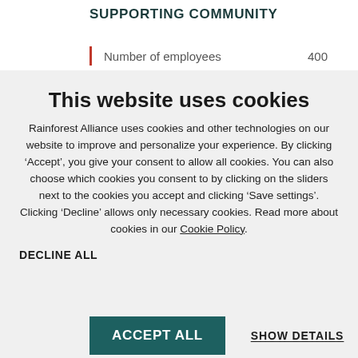SUPPORTING COMMUNITY
Number of employees    400
This website uses cookies
Rainforest Alliance uses cookies and other technologies on our website to improve and personalize your experience. By clicking ‘Accept’, you give your consent to allow all cookies. You can also choose which cookies you consent to by clicking on the sliders next to the cookies you accept and clicking ‘Save settings’. Clicking ‘Decline’ allows only necessary cookies. Read more about cookies in our Cookie Policy.
DECLINE ALL
ACCEPT ALL
SHOW DETAILS